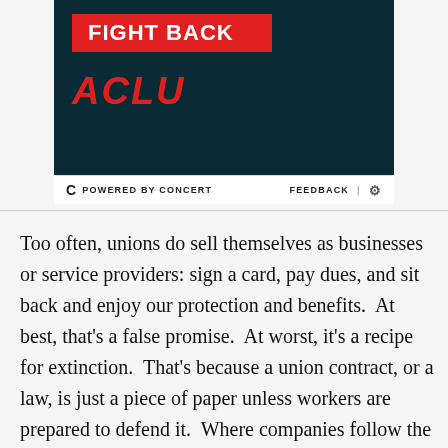[Figure (logo): ACLU 'Fight Back' promotional banner. Dark teal background with a red rectangle containing white bold text 'FIGHT BACK', and below it the red italic bold ACLU logo.]
POWERED BY CONCERT    FEEDBACK  |  ⚙
Too often, unions do sell themselves as businesses or service providers: sign a card, pay dues, and sit back and enjoy our protection and benefits.  At best, that's a false promise.  At worst, it's a recipe for extinction.  That's because a union contract, or a law, is just a piece of paper unless workers are prepared to defend it.  Where companies follow the rules, either it's a reversible act of forbearance, or it's because workers